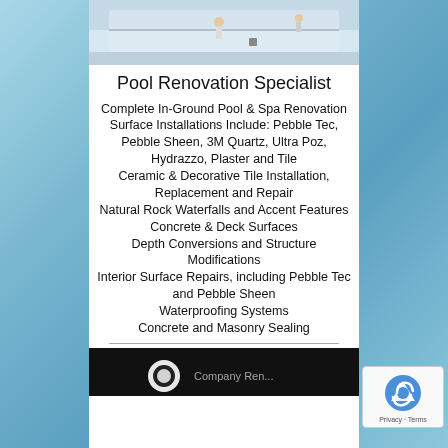[Figure (photo): Photo of workers renovating an empty swimming pool, white pool surface visible]
Pool Renovation Specialist
Complete In-Ground Pool & Spa Renovation
Surface Installations Include: Pebble Tec, Pebble Sheen, 3M Quartz, Ultra Poz, Hydrazzo, Plaster and Tile
Ceramic & Decorative Tile Installation, Replacement and Repair
Natural Rock Waterfalls and Accent Features
Concrete & Deck Surfaces
Depth Conversions and Structure Modifications
Interior Surface Repairs, including Pebble Tec and Pebble Sheen
Waterproofing Systems
Concrete and Masonry Sealing
[Figure (photo): Bottom partial photo showing dark background with a light circular logo shape, company name partially visible]